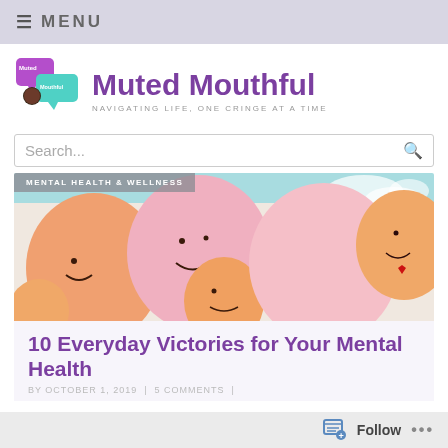≡ MENU
Muted Mouthful
NAVIGATING LIFE, ONE CRINGE AT A TIME
Search...
[Figure (photo): Colorful smiley-face balloons (orange and pink) against a teal sky, with the category label 'MENTAL HEALTH & WELLNESS' overlaid at the top left]
10 Everyday Victories for Your Mental Health
BY OCTOBER 1, 2019 | 5 COMMENTS |
Follow  ...